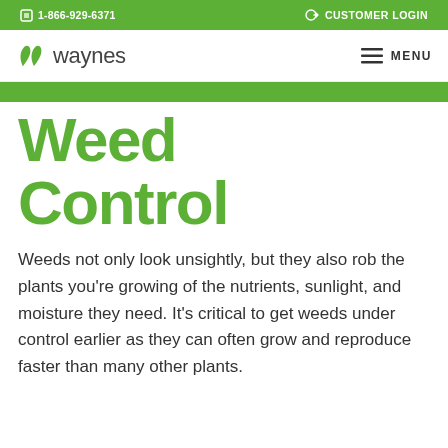1-866-929-6371   CUSTOMER LOGIN
[Figure (logo): Waynes logo with two green leaf icons and the text 'waynes' in light gray, plus a hamburger MENU icon on the right]
Weed Control
Weeds not only look unsightly, but they also rob the plants you're growing of the nutrients, sunlight, and moisture they need. It's critical to get weeds under control earlier as they can often grow and reproduce faster than many other plants.